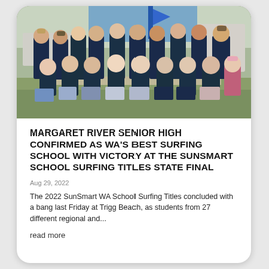[Figure (photo): Group photo of Margaret River Senior High School surfing team students wearing dark navy school uniforms, standing and sitting outdoors near a beach area with blue sky and a building in the background.]
MARGARET RIVER SENIOR HIGH CONFIRMED AS WA'S BEST SURFING SCHOOL WITH VICTORY AT THE SUNSMART SCHOOL SURFING TITLES STATE FINAL
Aug 29, 2022
The 2022 SunSmart WA School Surfing Titles concluded with a bang last Friday at Trigg Beach, as students from 27 different regional and...
read more